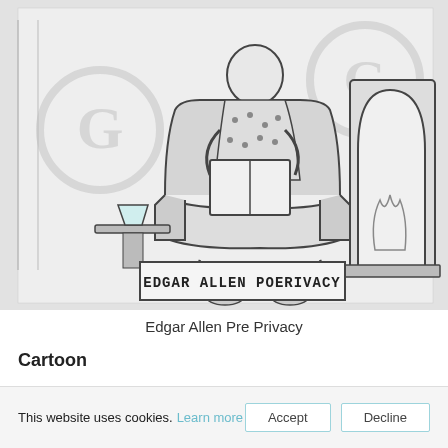[Figure (illustration): Pencil sketch cartoon showing a person sitting in an armchair reading, with a side table holding a drink, and a fireplace in the background. A banner at the bottom reads 'EDGAR ALLEN POERIVACY'. Two faint watermark 'G' circles visible.]
Edgar Allen Pre Privacy
Cartoon
[Figure (illustration): Pencil sketch cartoon showing a street scene with a sign reading 'CORONA VIRUS TRACKING APP OVER-REACH.' and a cafe sign partially visible on the right. Small cartoon figures visible on the left side.]
This website uses cookies. Learn more